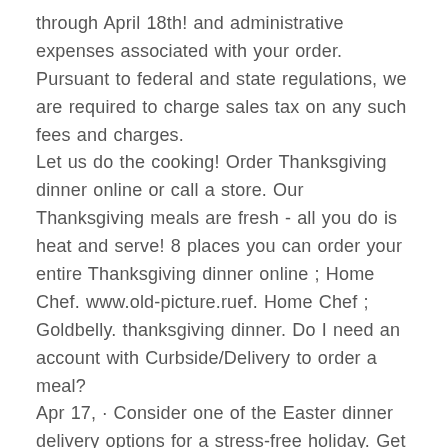through April 18th! and administrative expenses associated with your order. Pursuant to federal and state regulations, we are required to charge sales tax on any such fees and charges. Let us do the cooking! Order Thanksgiving dinner online or call a store. Our Thanksgiving meals are fresh - all you do is heat and serve! 8 places you can order your entire Thanksgiving dinner online ; Home Chef. www.old-picture.ruef. Home Chef ; Goldbelly. thanksgiving dinner. Do I need an account with Curbside/Delivery to order a meal? Apr 17, · Consider one of the Easter dinner delivery options for a stress-free holiday. Get meals that the whole family will love at restaurants like Cracker Barrel, Boston Market, Honey Baked Ham, and more. Order your Whole Foods Market favorites online for your next catered event. Select your store to learn what catering